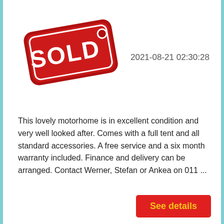[Figure (illustration): Red SOLD tag/label graphic with white bold text reading SOLD and a white dot, styled as a price tag with rounded corners and a string hole]
2021-08-21 02:30:28
This lovely motorhome is in excellent condition and very well looked after. Comes with a full tent and all standard accessories. A free service and a six month warranty included. Finance and delivery can be arranged. Contact Werner, Stefan or Ankea on 011 ...
See details